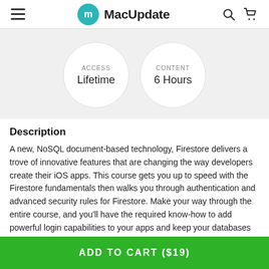MacUpdate
[Figure (infographic): Two circular badge icons: ACCESS / Lifetime and CONTENT / 6 Hours]
Description
A new, NoSQL document-based technology, Firestore delivers a trove of innovative features that are changing the way developers create their iOS apps. This course gets you up to speed with the Firestore fundamentals then walks you through authentication and advanced security rules for Firestore. Make your way through the entire course, and you'll have the required know-how to add powerful login capabilities to your apps and keep your databases secure.
ADD TO CART ($19)